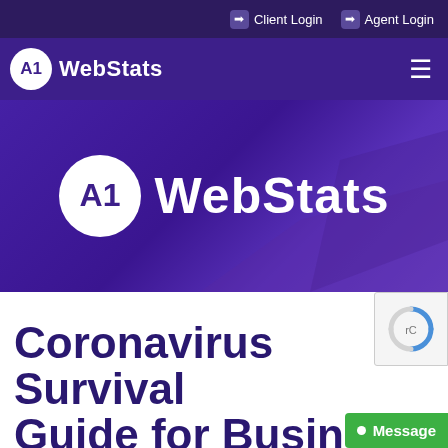➡ Client Login  ➡ Agent Login
[Figure (logo): A1 WebStats logo in navigation bar — white circle with A1 text and 'WebStats' in white text beside it, on dark purple background with hamburger menu icon]
[Figure (logo): A1 WebStats hero banner — large white circle logo with A1 text and large 'WebStats' white text on purple gradient background with geometric shapes]
Coronavirus Survival Guide for Business